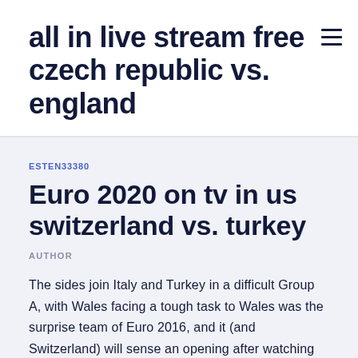all in live stream free czech republic vs. england
ESTEN33380
Euro 2020 on tv in us switzerland vs. turkey
AUTHOR
The sides join Italy and Turkey in a difficult Group A, with Wales facing a tough task to Wales was the surprise team of Euro 2016, and it (and Switzerland) will sense an opening after watching Turkey got pounded